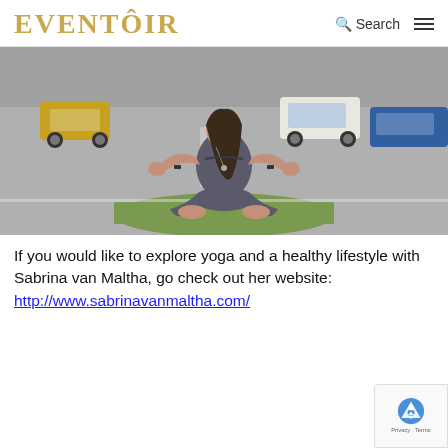EVENTÔIR  🔍 Search  ☰
[Figure (photo): Woman sitting in lotus yoga pose on a grass median strip in the middle of a road, with cars in the background. She is wearing dark grey athletic wear.]
If you would like to explore yoga and a healthy lifestyle with Sabrina van Maltha, go check out her website:
http://www.sabrinavanmaltha.com/